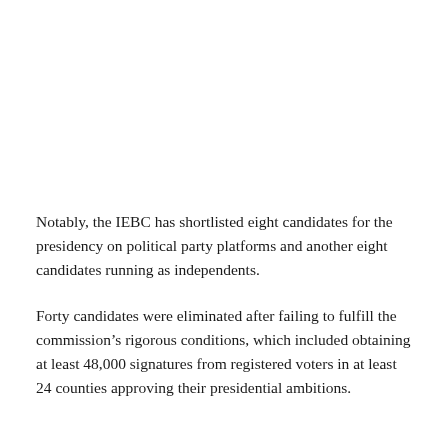Notably, the IEBC has shortlisted eight candidates for the presidency on political party platforms and another eight candidates running as independents.
Forty candidates were eliminated after failing to fulfill the commission's rigorous conditions, which included obtaining at least 48,000 signatures from registered voters in at least 24 counties approving their presidential ambitions.